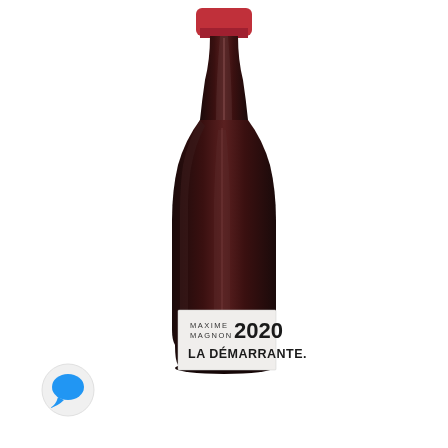[Figure (photo): A dark red wine bottle with a crimson foil cap. The bottle has a white label near the bottom reading 'MAXIME MAGNON 2020' and 'LA DÉMARRANTE.' in bold sans-serif text. The bottle is photographed against a white background. A small blue speech bubble icon is visible in the lower left corner of the image.]